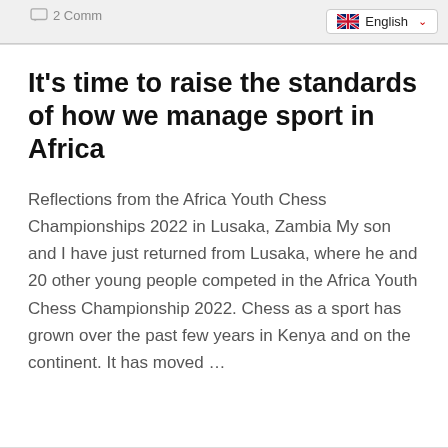2 Comm   English
It's time to raise the standards of how we manage sport in Africa
Reflections from the Africa Youth Chess Championships 2022 in Lusaka, Zambia My son and I have just returned from Lusaka, where he and 20 other young people competed in the Africa Youth Chess Championship 2022. Chess as a sport has grown over the past few years in Kenya and on the continent. It has moved …